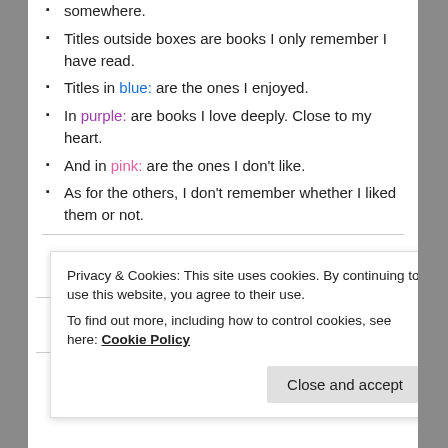somewhere.
Titles outside boxes are books I only remember I have read.
Titles in blue: are the ones I enjoyed.
In purple: are books I love deeply. Close to my heart.
And in pink: are the ones I don't like.
As for the others, I don't remember whether I liked them or not.
| Title | Author |
| --- | --- |
| A MURDER IS ANNOUNCED | Agatha Christie |
| CARDS ON THE TABLE | Agatha Christie |
Privacy & Cookies: This site uses cookies. By continuing to use this website, you agree to their use.
To find out more, including how to control cookies, see here: Cookie Policy